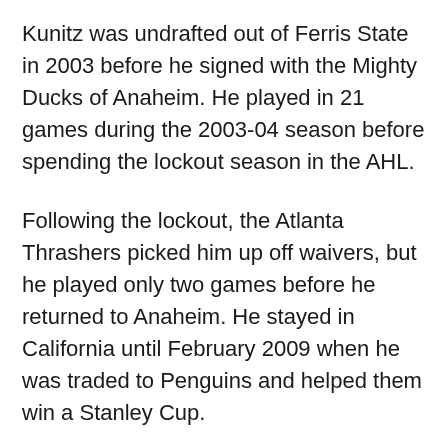Kunitz was undrafted out of Ferris State in 2003 before he signed with the Mighty Ducks of Anaheim. He played in 21 games during the 2003-04 season before spending the lockout season in the AHL.
Following the lockout, the Atlanta Thrashers picked him up off waivers, but he played only two games before he returned to Anaheim. He stayed in California until February 2009 when he was traded to Penguins and helped them win a Stanley Cup.
Kunitz spent nine years in Pittsburgh. His best stretch of play was from 2011-2014, when he netted 83 goals and had 98 assists over the three-season stretch.
WATCH | Kunitz sends Penguins to ’17 Cup final with Game 7 heroics: